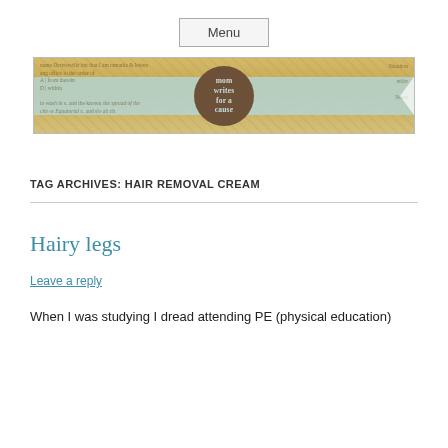Menu
[Figure (illustration): Blog banner for 'mom writes for a cause' with a vintage map background, a light blue ribbon across the center, and a dark brown circle in the middle containing the text 'mom writes for a cause' in light blue letters.]
TAG ARCHIVES: HAIR REMOVAL CREAM
Hairy legs
Leave a reply
When I was studying I dread attending PE (physical education)